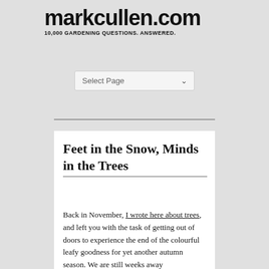markcullen.com — 10,000 GARDENING QUESTIONS. ANSWERED.
[Figure (screenshot): Navigation dropdown selector labeled 'Select Page' with a chevron arrow]
Feet in the Snow, Minds in the Trees
Back in November, I wrote here about trees, and left you with the task of getting out of doors to experience the end of the colourful leafy goodness for yet another autumn season. We are still weeks away